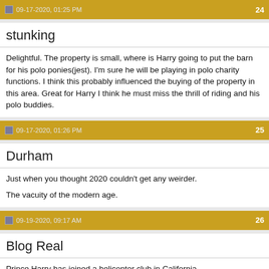09-17-2020, 01:25 PM | 24
stunking
Delightful. The property is small, where is Harry going to put the barn for his polo ponies(jest). I'm sure he will be playing in polo charity functions. I think this probably influenced the buying of the property in this area. Great for Harry I think he must miss the thrill of riding and his polo buddies.
09-17-2020, 01:26 PM | 25
Durham
Just when you thought 2020 couldn't get any weirder.

The vacuity of the modern age.
09-19-2020, 09:17 AM | 26
Blog Real
Prince Harry has joined a helicopter club in California.

In any case, the culture and if we this area reasons